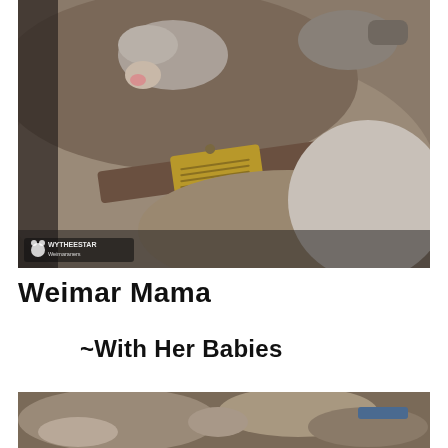[Figure (photo): A Weimaraner mother dog lying down wearing a brown leather collar with a gold nameplate, with newborn puppies nestled against her. A tiny newborn puppy with grey fur is visible resting on her back. Watermark in lower left reads 'WYTHEESTAR Weimaraners'.]
Weimar Mama
~With Her Babies
[Figure (photo): Partial view of another photo showing Weimaraner dogs, cropped at the bottom of the page.]